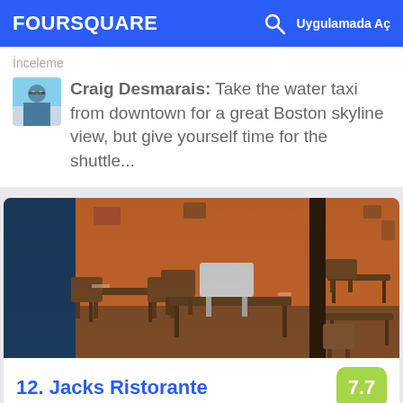FOURSQUARE | Uygulamada Aç
İnceleme
Craig Desmarais: Take the water taxi from downtown for a great Boston skyline view, but give yourself time for the shuttle...
[Figure (photo): Interior photo of Jacks Ristorante showing tables and wooden chairs in a warmly lit restaurant]
12. Jacks Ristorante
655 Eastern Ave, Malden, MA